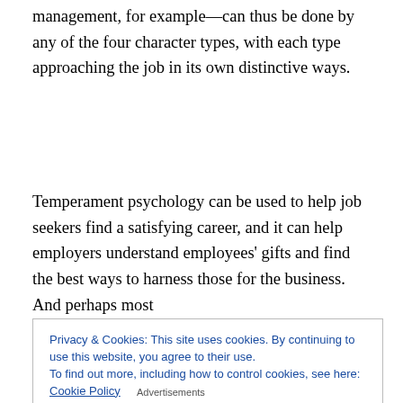management, for example—can thus be done by any of the four character types, with each type approaching the job in its own distinctive ways.
Temperament psychology can be used to help job seekers find a satisfying career, and it can help employers understand employees' gifts and find the best ways to harness those for the business.  And perhaps most
Privacy & Cookies: This site uses cookies. By continuing to use this website, you agree to their use.
To find out more, including how to control cookies, see here: Cookie Policy
Close and accept
Advertisements